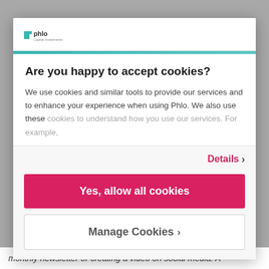[Figure (logo): Phlo Capital Investments logo — teal cross/plus icon with 'phlo' text and 'Capital Investments' subtitle]
Are you happy to accept cookies?
We use cookies and similar tools to provide our services and to enhance your experience when using Phlo. We also use these cookies to understand how you use our services. For example,
Details >
Yes, allow all cookies
Manage Cookies >
monthly newsletter or creating a video on social media. A